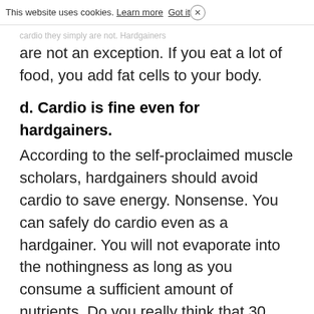cardio they simply are not. Hardgainers
are not an exception. If you eat a lot of food, you add fat cells to your body.
d. Cardio is fine even for hardgainers.
According to the self-proclaimed muscle scholars, hardgainers should avoid cardio to save energy. Nonsense. You can safely do cardio even as a hardgainer. You will not evaporate into the nothingness as long as you consume a sufficient amount of nutrients. Do you really think that 30 minutes on the bike will kill your gains? Get serious.